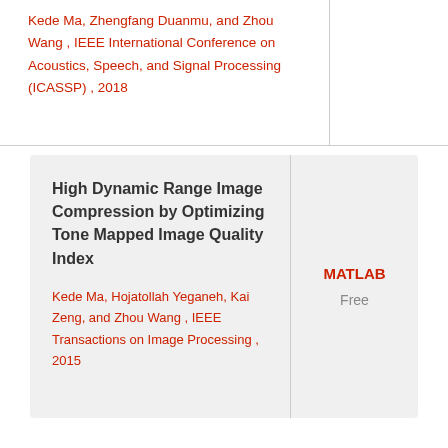Kede Ma, Zhengfang Duanmu, and Zhou Wang , IEEE International Conference on Acoustics, Speech, and Signal Processing (ICASSP) ,  2018
High Dynamic Range Image Compression by Optimizing Tone Mapped Image Quality Index
Kede Ma, Hojatollah Yeganeh, Kai Zeng, and Zhou Wang , IEEE Transactions on Image Processing ,  2015
MATLAB
Free